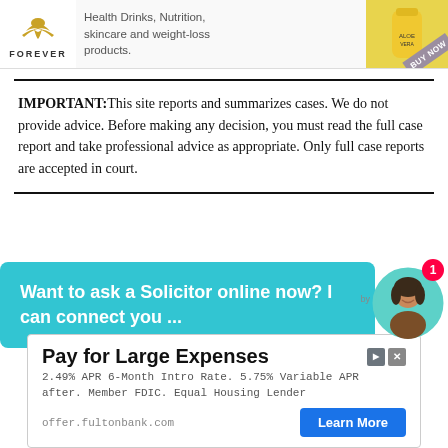[Figure (illustration): Forever Living Products advertisement banner with eagle logo, text about health drinks, nutrition, skincare and weight-loss products, and a BUY NOW ribbon on a yellow product image]
IMPORTANT: This site reports and summarizes cases. We do not provide advice. Before making any decision, you must read the full case report and take professional advice as appropriate. Only full case reports are accepted in court.
[Figure (illustration): Chat widget with teal background: 'Want to ask a Solicitor online now? I can connect you ...' with a circular avatar photo of a woman and a red notification badge showing '1']
[Figure (illustration): Advertisement for Fulton Bank: 'Pay for Large Expenses' with 2.49% APR 6-Month Intro Rate, 5.75% Variable APR after, Member FDIC, Equal Housing Lender, with Learn More button]